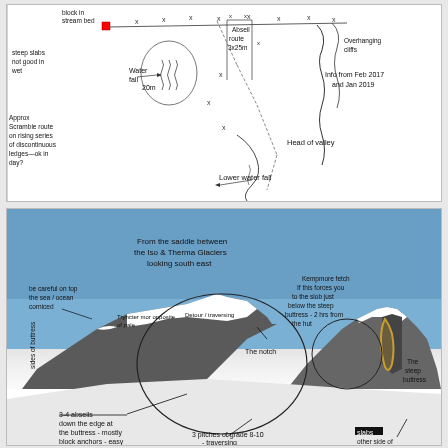[Figure (illustration): Hand-drawn sketch of a mountain valley route showing waterfall (20m), abseiling route (3x25m), steep slabs, overhanging cliffs, head of valley, lower waterfall, and approach scramble route on rising series of discontinuous ledges. Annotations: 'block in stream bed', 'steep slabs not good in wet', 'Water fall 20m', 'Abseil route 3x25m', 'Overhanging cliffs', 'Info from Feb 2017 and Jan 2019', 'Approx Scramble route on rising series of discontinuous ledges—ok in day?', 'Head of valley', 'Lower water fall'.]
[Figure (photo): Annotated mountain photograph taken from the saddle between the Iso and Therma Glaciers looking south east. Shows a snow-covered mountain with handwritten annotations including: 'From the saddle between the Iso & Therma Glaciers looking south east', 'be careful on top', 'the sea / ocean', 'corniced', 'Tryncter mor opposite of pale', 'Detour / traversing', 'The notch', 'Kempmore fetch - If this forces you to the slob just below the steep buttress - 2 hrs from the hut', 'The steep buttress', '3-4 abseils down the edge at the buttress - mostly black anchors - easy', '3 pitches of grade 8-10 - traversing', 'slabs on other side of the notch', 'sides of buttress'.]